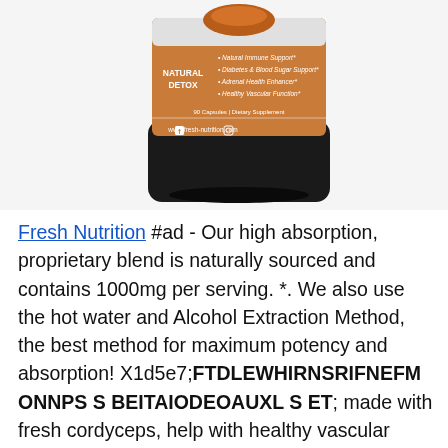[Figure (photo): Product image of a supplement bottle labeled 'Natural Detox Cordyceps' with an orange/tan label showing bullet points: Natural Immune Support, Diabetes & Blood Sugar Support, Adrenal Health Enhancer, Healthy Vascular Function. 90 Capsules | Dietary Supplement. Website: www.fresh-nutrition.com]
Fresh Nutrition #ad - Our high absorption, proprietary blend is naturally sourced and contains 1000mg per serving. *. We also use the hot water and Alcohol Extraction Method, the best method for maximum potency and absorption! X1d5e7;FTDLEWHIRNSRIFNEFM ONNPS S BEITAIODEOAUXL S ET; made with fresh cordyceps, help with healthy vascular function, adrenal health enhancer, offer immunopotentiation properties, this natural detox supplement has shown